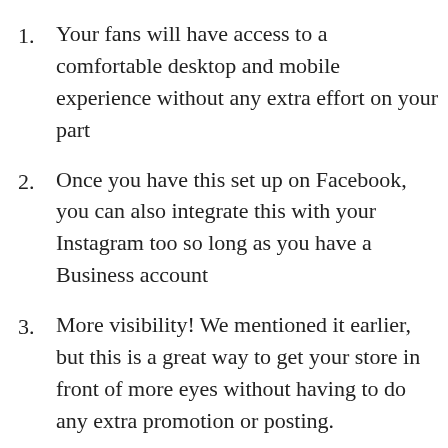Your fans will have access to a comfortable desktop and mobile experience without any extra effort on your part
Once you have this set up on Facebook, you can also integrate this with your Instagram too so long as you have a Business account
More visibility! We mentioned it earlier, but this is a great way to get your store in front of more eyes without having to do any extra promotion or posting.